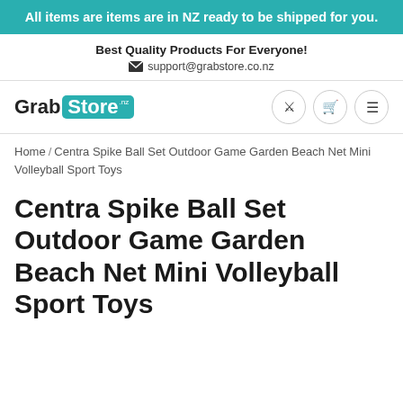All items are items are in NZ ready to be shipped for you.
Best Quality Products For Everyone!
support@grabstore.co.nz
[Figure (logo): GrabStore logo with 'Grab' in black and 'Store' in white on teal rounded rectangle background, with navigation icons (search, cart, menu)]
Home / Centra Spike Ball Set Outdoor Game Garden Beach Net Mini Volleyball Sport Toys
Centra Spike Ball Set Outdoor Game Garden Beach Net Mini Volleyball Sport Toys